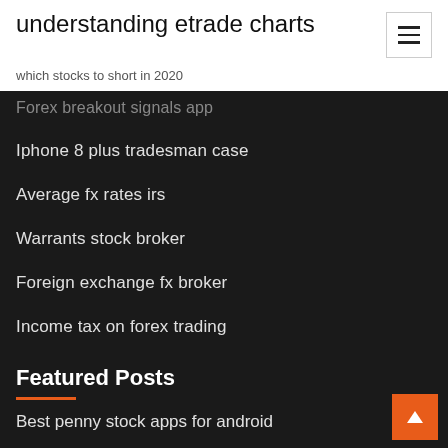understanding etrade charts
which stocks to short in 2020
Forex breakout signals app
Iphone 8 plus tradesman case
Average fx rates irs
Warrants stock broker
Foreign exchange fx broker
Income tax on forex trading
Featured Posts
Best penny stock apps for android
Team bam traders